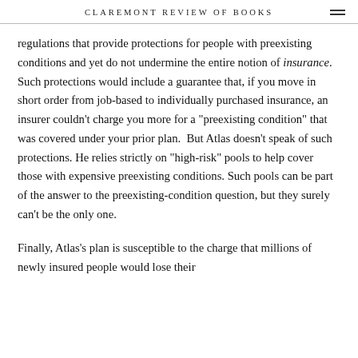CLAREMONT REVIEW OF BOOKS
regulations that provide protections for people with preexisting conditions and yet do not undermine the entire notion of insurance. Such protections would include a guarantee that, if you move in short order from job-based to individually purchased insurance, an insurer couldn't charge you more for a "preexisting condition" that was covered under your prior plan.  But Atlas doesn't speak of such protections. He relies strictly on "high-risk" pools to help cover those with expensive preexisting conditions. Such pools can be part of the answer to the preexisting-condition question, but they surely can't be the only one.
Finally, Atlas's plan is susceptible to the charge that millions of newly insured people would lose their